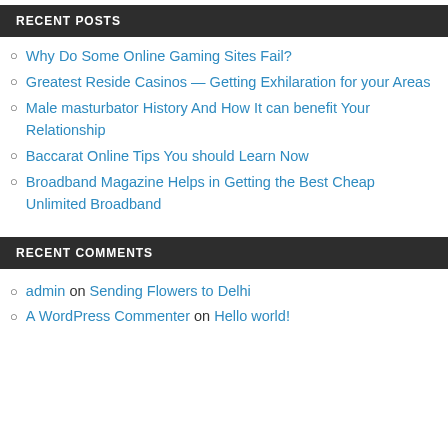RECENT POSTS
Why Do Some Online Gaming Sites Fail?
Greatest Reside Casinos — Getting Exhilaration for your Areas
Male masturbator History And How It can benefit Your Relationship
Baccarat Online Tips You should Learn Now
Broadband Magazine Helps in Getting the Best Cheap Unlimited Broadband
RECENT COMMENTS
admin on Sending Flowers to Delhi
A WordPress Commenter on Hello world!